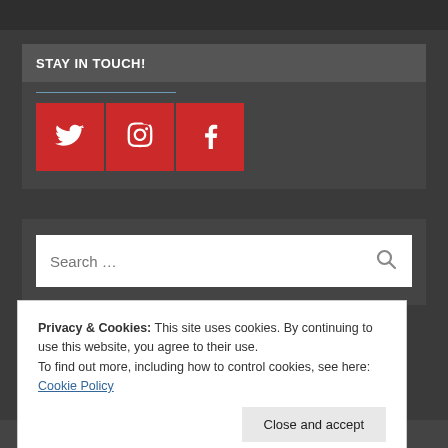STAY IN TOUCH!
[Figure (infographic): Three red social media icon buttons: Twitter bird icon, Instagram camera icon, Facebook 'f' icon]
[Figure (screenshot): Search bar with placeholder text 'Search ...' and a search icon on the right]
Privacy & Cookies: This site uses cookies. By continuing to use this website, you agree to their use. To find out more, including how to control cookies, see here: Cookie Policy
receive notifications of new posts by email.